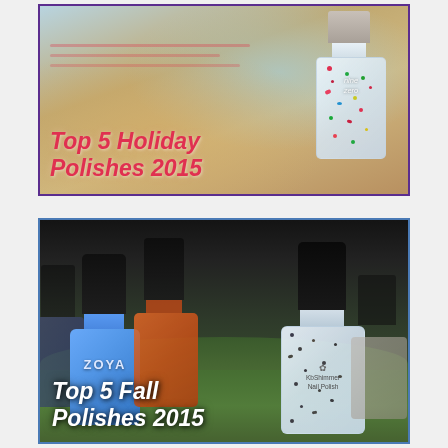[Figure (photo): Photo of a nail polish bottle with glitter/confetti inside on a colorful background, with text overlay reading 'Top 5 Holiday Polishes 2015'. The bottle label reads 'nine zero'. Image has a purple border.]
[Figure (photo): Photo of multiple nail polish bottles on a mossy surface. A blue Zoya bottle and an orange bottle are in the background, a clear glitter nail polish (KBShimmer brand) is in the foreground right, and a navy bottle is on the far left. Text overlay reads 'Top 5 Fall Polishes 2015'. Image has a blue border.]